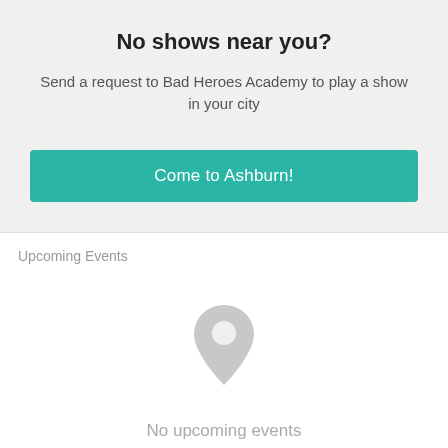No shows near you?
Send a request to Bad Heroes Academy to play a show in your city
[Figure (other): Teal call-to-action button labeled 'Come to Ashburn!']
Upcoming Events
[Figure (illustration): Gray map pin / location marker icon]
No upcoming events
Follow to know when Bad Heroes Academy is playing near you.